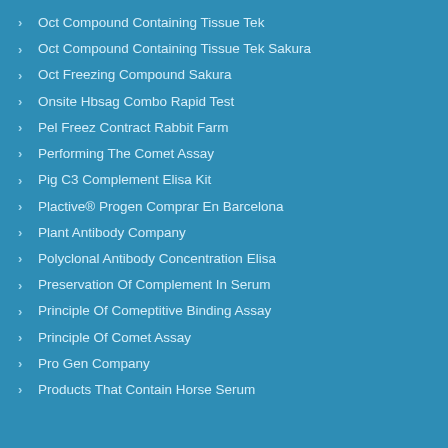Oct Compound Containing Tissue Tek
Oct Compound Containing Tissue Tek Sakura
Oct Freezing Compound Sakura
Onsite Hbsag Combo Rapid Test
Pel Freez Contract Rabbit Farm
Performing The Comet Assay
Pig C3 Complement Elisa Kit
Plactive® Progen Comprar En Barcelona
Plant Antibody Company
Polyclonal Antibody Concentration Elisa
Preservation Of Complement In Serum
Principle Of Comeptitive Binding Assay
Principle Of Comet Assay
Pro Gen Company
Products That Contain Horse Serum